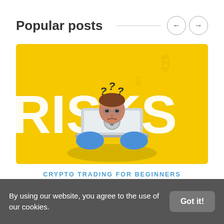Popular posts
[Figure (illustration): Yellow background illustration showing a person slumped over a laptop with a Bitcoin logo, with question marks above their head and the word RISKS in large white letters behind them. Represents risks of crypto trading for beginners.]
CRYPTO TRADING FOR BEGINNERS
By using our website, you agree to the use of our cookies.